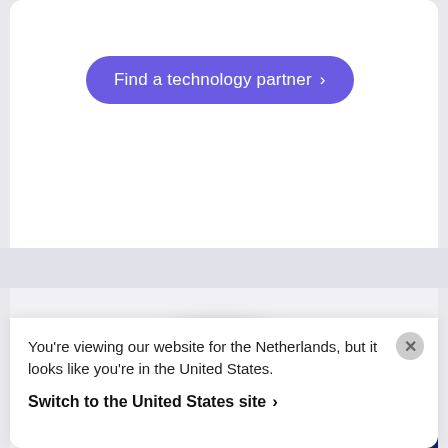[Figure (screenshot): White card section with a purple rounded button labeled 'Find a technology partner >']
[Figure (logo): IBM logo in white stripe style on a blue circle, with a partial WPP logo on a dark navy circle, and a small blue circle partially visible at bottom — technology partner logos on a light gray background]
You're viewing our website for the Netherlands, but it looks like you're in the United States.
Switch to the United States site >